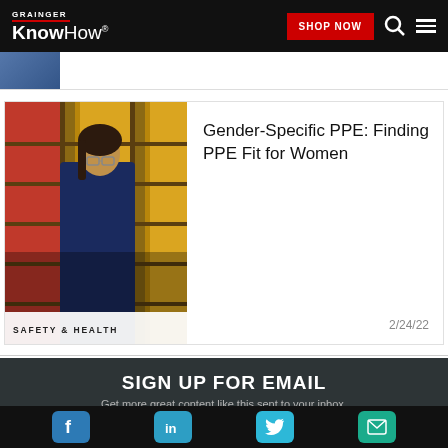GRAINGER KnowHow® SHOP NOW
[Figure (photo): Partial article thumbnail visible at top of page]
[Figure (photo): Woman in dark jacket looking down, standing in front of shelving with red and tan storage bins]
SAFETY & HEALTH
Gender-Specific PPE: Finding PPE Fit for Women
2/24/22
SIGN UP FOR EMAIL
Get more great content like this sent to your inbox.
email address
Social media icons: Facebook, LinkedIn, Twitter, Email